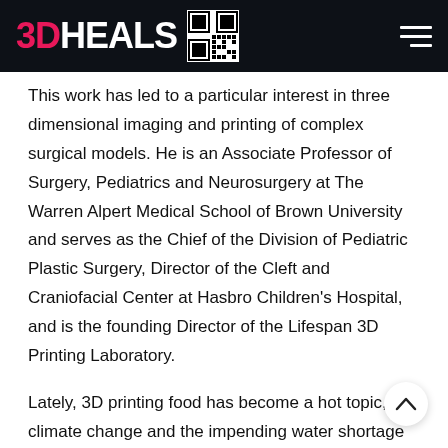3DHEALS
This work has led to a particular interest in three dimensional imaging and printing of complex surgical models. He is an Associate Professor of Surgery, Pediatrics and Neurosurgery at The Warren Alpert Medical School of Brown University and serves as the Chief of the Division of Pediatric Plastic Surgery, Director of the Cleft and Craniofacial Center at Hasbro Children's Hospital, and is the founding Director of the Lifespan 3D Printing Laboratory.
Lately, 3D printing food has become a hot topic, as climate change and the impending water shortage crisis all beckon humanity for alternative more environmental (and healthier) food sources. “Cultured meat”, “cellular agriculture”, “ab grown meats” are all new popular concepts that are rec…g increasing attention. What are the roles of 3D printing in all